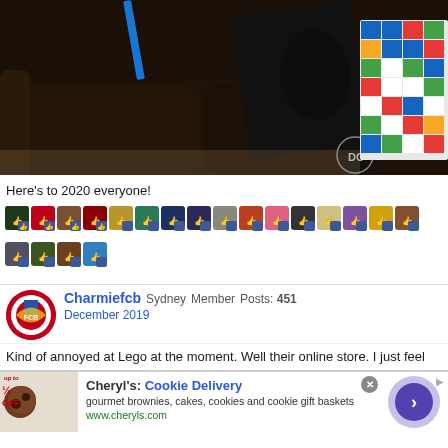[Figure (photo): Photo of a dark leather sofa with a DC Comics book/box and colorful LEGO board on the right side]
Here's to 2020 everyone!
[Figure (other): Row of user avatar thumbnails with thumbs-up like reaction overlays, showing reactions to a post]
Charmiefcb  Sydney  Member  Posts: 451
December 2019
Kind of annoyed at Lego at the moment. Well their online store. I just feel
[Figure (screenshot): Advertisement for Cheryl's Cookie Delivery - gourmet brownies, cakes, cookies and cookie gift baskets. www.cheryls.com]